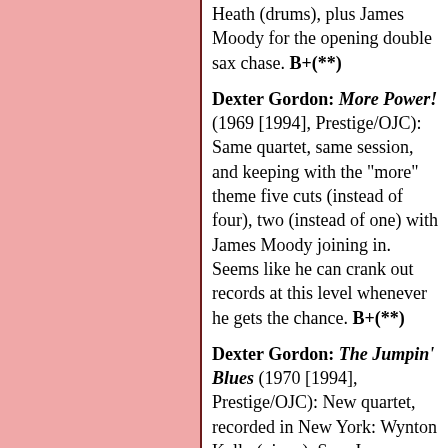Heath (drums), plus James Moody for the opening double sax chase. B+(**)
Dexter Gordon: More Power! (1969 [1994], Prestige/OJC): Same quartet, same session, and keeping with the "more" theme five cuts (instead of four), two (instead of one) with James Moody joining in. Seems like he can crank out records at this level whenever he gets the chance. B+(**)
Dexter Gordon: The Jumpin' Blues (1970 [1994], Prestige/OJC): New quartet, recorded in New York: Wynton Kelly (piano), Sam Jones (bass), Roy Brooks (drums). Leans heavily on bop standards and lights them up. B+(***)
Dexter Gordon: The Panther! (1970 [1992], Prestige/OJC):